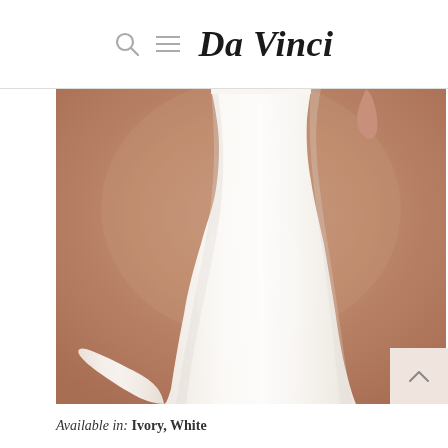Da Vinci
[Figure (photo): Wedding dress photo showing the lower half of a model wearing a flowing white/ivory crepe gown with a small train, set against a warm terracotta/dusty rose background.]
Available in: Ivory, White